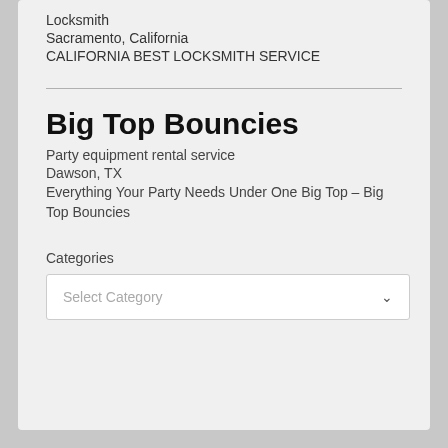Locksmith
Sacramento, California
CALIFORNIA BEST LOCKSMITH SERVICE
Big Top Bouncies
Party equipment rental service
Dawson, TX
Everything Your Party Needs Under One Big Top – Big Top Bouncies
Categories
Select Category